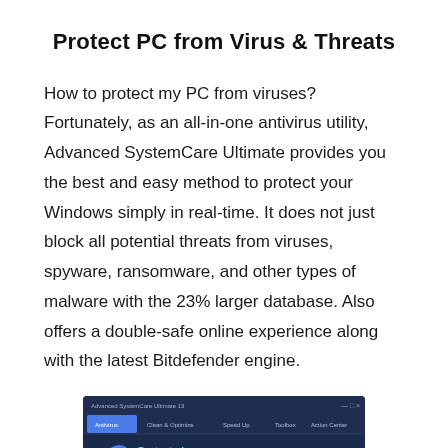Protect PC from Virus & Threats
How to protect my PC from viruses? Fortunately, as an all-in-one antivirus utility, Advanced SystemCare Ultimate provides you the best and easy method to protect your Windows simply in real-time. It does not just block all potential threats from viruses, spyware, ransomware, and other types of malware with the 23% larger database. Also offers a double-safe online experience along with the latest Bitdefender engine.
[Figure (screenshot): Screenshot of Advanced SystemCare Ultimate 13 application showing the Antivirus tab with a 'Protected' status indicator (shield icon with checkmark), last update timestamp, and navigation tabs including Antivirus, Clean & Optimize, Speed Up, Toolbox, and Action Center.]